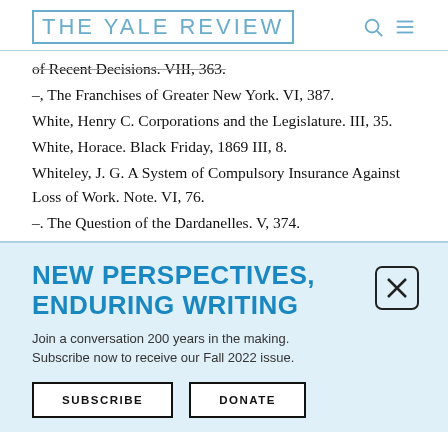THE YALE REVIEW
of Recent Decisions. VIII, 363.
–, The Franchises of Greater New York. VI, 387.
White, Henry C. Corporations and the Legislature. III, 35.
White, Horace. Black Friday, 1869 III, 8.
Whiteley, J. G. A System of Compulsory Insurance Against Loss of Work. Note. VI, 76.
–. The Question of the Dardanelles. V, 374.
NEW PERSPECTIVES, ENDURING WRITING
Join a conversation 200 years in the making. Subscribe now to receive our Fall 2022 issue.